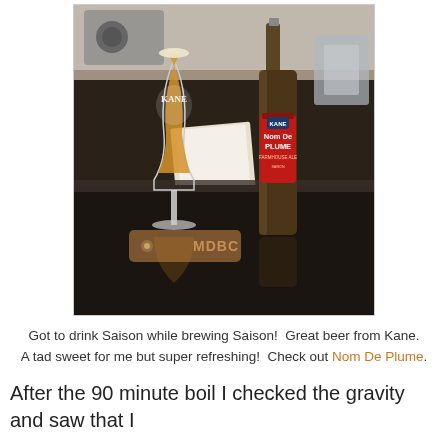[Figure (photo): Photo of a KANE branded tulip glass filled with golden beer next to a dark bottle of Kane 'Nom De Plume' saison, with a brown leather MDBC tag in front, sitting on a kitchen stovetop counter.]
Got to drink Saison while brewing Saison!  Great beer from Kane.  A tad sweet for me but super refreshing!  Check out Nom De Plume.
After the 90 minute boil I checked the gravity and saw that I